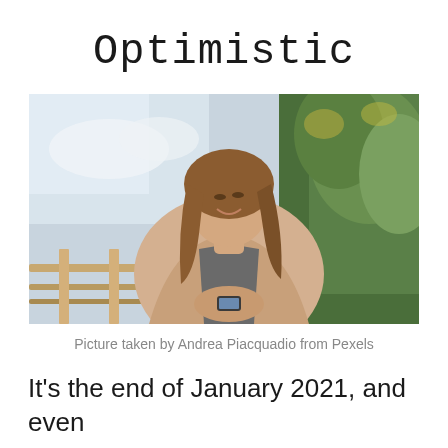Optimistic
[Figure (photo): A young woman with long brown hair, wearing a beige blazer over a grey shirt, smiling and looking down at a phone she is holding. She is leaning on a wooden railing with green trees in the background and a cloudy sky to the left.]
Picture taken by Andrea Piacquadio from Pexels
It's the end of January 2021, and even